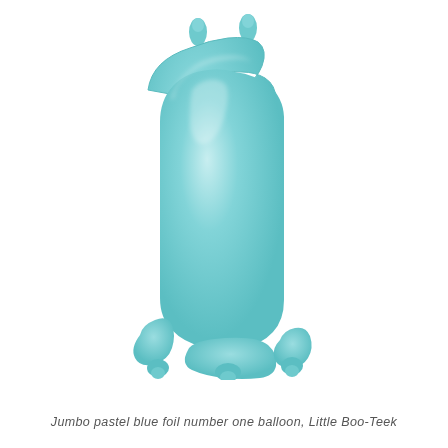[Figure (photo): A jumbo pastel blue foil balloon in the shape of the number one (1), with two small valve nubs at the top and three at the bottom. The balloon has a smooth, matte light blue/teal surface with subtle shading suggesting a 3D inflated form.]
Jumbo pastel blue foil number one balloon, Little Boo-Teek